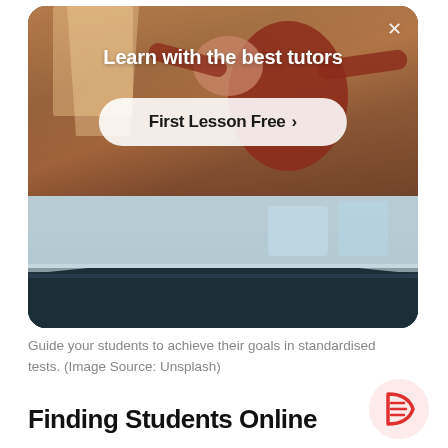[Figure (screenshot): Screenshot of an online tutoring platform advertisement showing a person in a warm-toned room with text overlay 'Learn with the best tutors' and a call-to-action button 'First Lesson Free >' and a lower half showing a blurred desk/classroom scene]
Guide your students to achieve their goals in standardised tests. (Image Source: Unsplash)
Finding Students Online